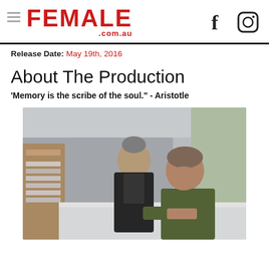FEMALE .com.au
Release Date: May 19th, 2016
About The Production
'Memory is the scribe of the soul.' - Aristotle
[Figure (photo): Two men in an indoor setting that appears to be a pharmacy or office. An older man in a dark jacket stands behind a younger man who is leaning over a white counter or desk. Shelves with items are visible in the background along with windows showing an outdoor scene.]